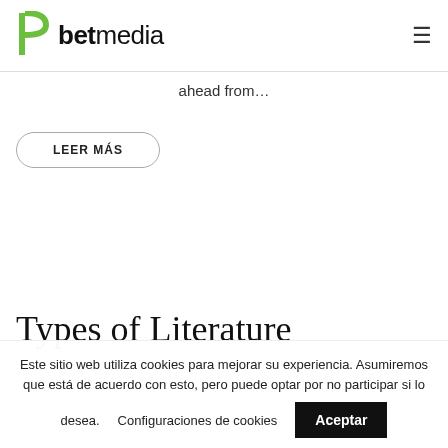betmedia
ahead from…
LEER MÁS
Types of Literature
Este sitio web utiliza cookies para mejorar su experiencia. Asumiremos que está de acuerdo con esto, pero puede optar por no participar si lo desea.   Configuraciones de cookies   Aceptar